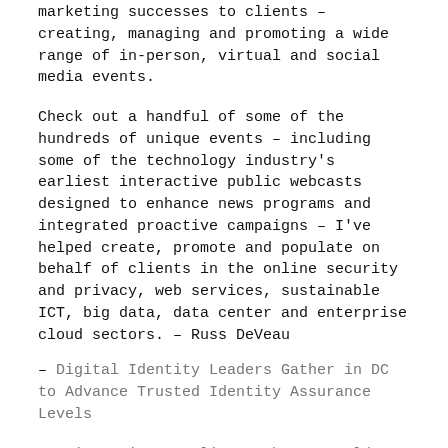marketing successes to clients – creating, managing and promoting a wide range of in-person, virtual and social media events.
Check out a handful of some of the hundreds of unique events – including some of the technology industry's earliest interactive public webcasts designed to enhance news programs and integrated proactive campaigns – I've helped create, promote and populate on behalf of clients in the online security and privacy, web services, sustainable ICT, big data, data center and enterprise cloud sectors. – Russ DeVeau
– Digital Identity Leaders Gather in DC to Advance Trusted Identity Assurance Levels
– Privacy in an Online, Web 2.0 World Public Webcast Series Launches April 16